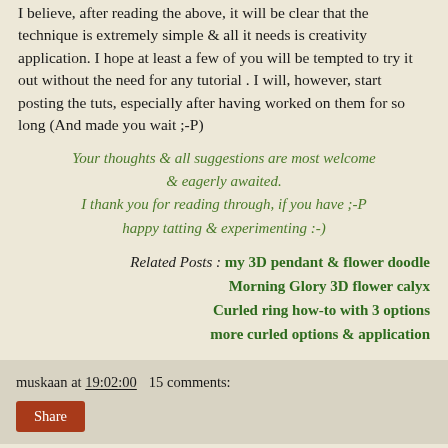I believe, after reading the above, it will be clear that the technique is extremely simple & all it needs is creativity application. I hope at least a few of you will be tempted to try it out without the need for any tutorial . I will, however, start posting the tuts, especially after having worked on them for so long (And made you wait ;-P)
Your thoughts & all suggestions are most welcome & eagerly awaited. I thank you for reading through, if you have ;-P happy tatting & experimenting :-)
Related Posts : my 3D pendant & flower doodle
Morning Glory 3D flower calyx
Curled ring how-to with 3 options
more curled options & application
muskaan at 19:02:00   15 comments: